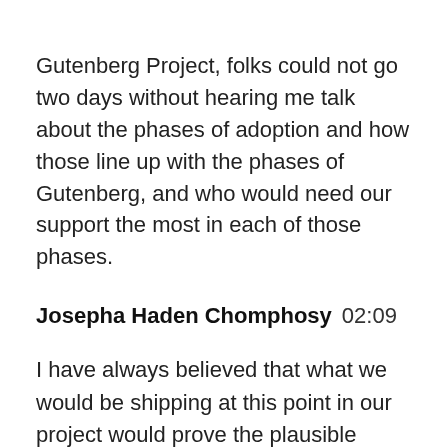Gutenberg Project, folks could not go two days without hearing me talk about the phases of adoption and how those line up with the phases of Gutenberg, and who would need our support the most in each of those phases.
Josepha Haden Chomphosy  02:09
I have always believed that what we would be shipping at this point in our project would prove the plausible promise of what we were doing in phase one. That's definitely what I'm seeing from what was shipped in 5.9, as well as what we plan to ship in May with 6.0. And the people who need the most support right now are absolutely our users, your clients, no matter whether they were